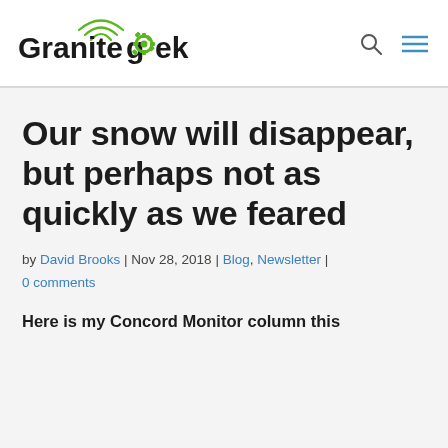Granite Geek
Our snow will disappear, but perhaps not as quickly as we feared
by David Brooks | Nov 28, 2018 | Blog, Newsletter | 0 comments
Here is my Concord Monitor column this